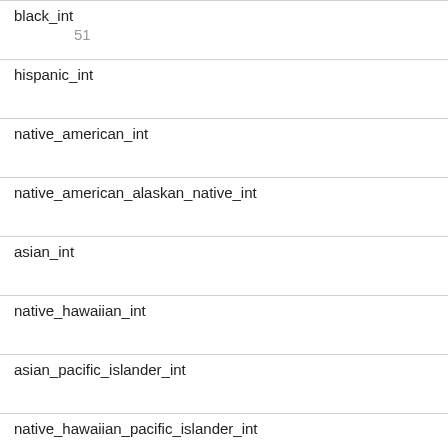| Field | Value |
| --- | --- |
| black_int | 51 |
| hispanic_int |  |
| native_american_int |  |
| native_american_alaskan_native_int |  |
| asian_int |  |
| native_hawaiian_int |  |
| asian_pacific_islander_int |  |
| native_hawaiian_pacific_islander_int |  |
| pacific_islander_int |  |
| multiracial_int | 88 |